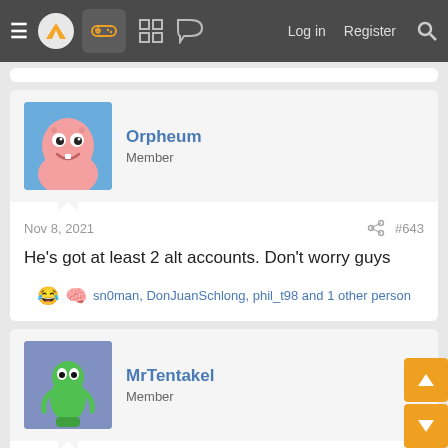≡ [logo] [controller icon] [grid icon] [chat icon]  Log in  Register  🔍
Orpheum
Member
Nov 8, 2021  #643
He's got at least 2 alt accounts. Don't worry guys
😂 🧠 sn0man, DonJuanSchlong, phil_t98 and 1 other person
MrTentakel
Member
Nov 8, 2021
Gameplaylover said: ⊕